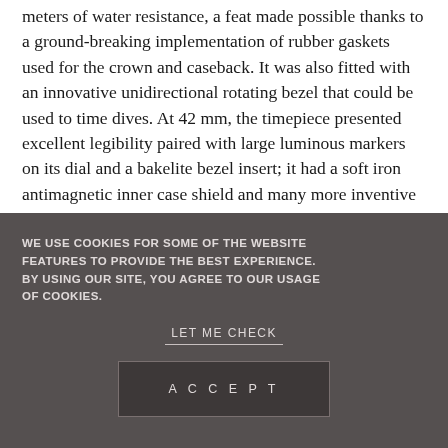meters of water resistance, a feat made possible thanks to a ground-breaking implementation of rubber gaskets used for the crown and caseback. It was also fitted with an innovative unidirectional rotating bezel that could be used to time dives. At 42 mm, the timepiece presented excellent legibility paired with large luminous markers on its dial and a bakelite bezel insert; it had a soft iron antimagnetic inner case shield and many more inventive qualities that cemented the Fifty Fathoms' destiny towards greatness
WE USE COOKIES FOR SOME OF THE WEBSITE FEATURES TO PROVIDE THE BEST EXPERIENCE. BY USING OUR SITE, YOU AGREE TO OUR USAGE OF COOKIES.
LET ME CHECK
ACCEPT